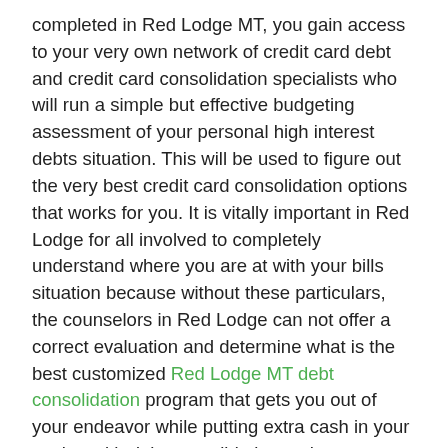completed in Red Lodge MT, you gain access to your very own network of credit card debt and credit card consolidation specialists who will run a simple but effective budgeting assessment of your personal high interest debts situation. This will be used to figure out the very best credit card consolidation options that works for you. It is vitally important in Red Lodge for all involved to completely understand where you are at with your bills situation because without these particulars, the counselors in Red Lodge can not offer a correct evaluation and determine what is the best customized Red Lodge MT debt consolidation program that gets you out of your endeavor while putting extra cash in your pocket with debt consolidation at the same time. By finishing this free debt consultation, the credit card relief team will be able to assist you save thousands in Red Lodge in interest and possibly principal amounts as well in Red Lodge MT.